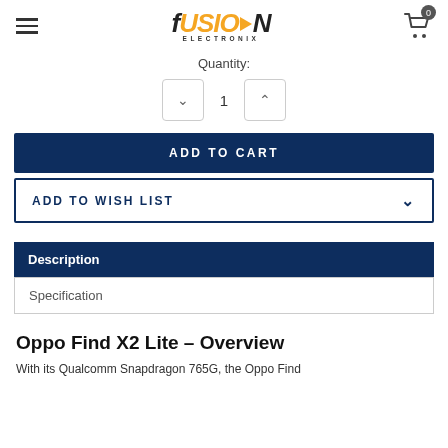Fusion Electronix — navigation header with hamburger menu, logo, and cart icon showing 0 items
Quantity:
1
ADD TO CART
ADD TO WISH LIST
Description
Specification
Oppo Find X2 Lite – Overview
With its Qualcomm Snapdragon 765G, the Oppo Find